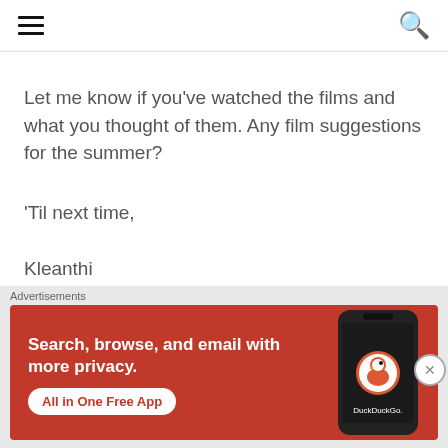navigation header with hamburger menu and search icon
Let me know if you've watched the films and what you thought of them. Any film suggestions for the summer?
'Til next time,
Kleanthi
[Figure (other): DuckDuckGo advertisement banner with orange background. Text reads: Search, browse, and email with more privacy. All in One Free App. DuckDuckGo logo and phone mockup shown on right side.]